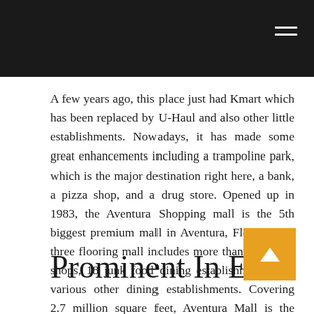A few years ago, this place just had Kmart which has been replaced by U-Haul and also other little establishments. Nowadays, it has made some great enhancements including a trampoline park, which is the major destination right here, a bank, a pizza shop, and a drug store. Opened up in 1983, the Aventura Shopping mall is the 5th biggest premium mall in Aventura, Florida. The three flooring mall includes more than 300 retail shops, 18 junk food dining establishments, and various other dining establishments. Covering 2.7 million square feet, Aventura Mall is the perfect shopping destination for any person aiming to spend a fun-filled day in a laid-back, energetic, and vibrant environment.
Prominent In Erie.
You might think about preparing a trip to Minnesota to look into Mall of America, Pennsylvania to go to the